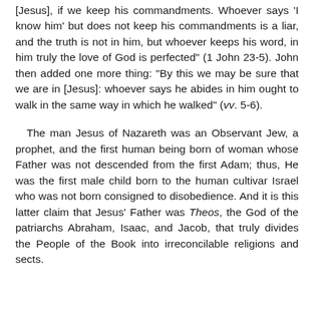[Jesus], if we keep his commandments. Whoever says 'I know him' but does not keep his commandments is a liar, and the truth is not in him, but whoever keeps his word, in him truly the love of God is perfected" (1 John 23-5). John then added one more thing: "By this we may be sure that we are in [Jesus]: whoever says he abides in him ought to walk in the same way in which he walked" (vv. 5-6).
The man Jesus of Nazareth was an Observant Jew, a prophet, and the first human being born of woman whose Father was not descended from the first Adam; thus, He was the first male child born to the human cultivar Israel who was not born consigned to disobedience. And it is this latter claim that Jesus' Father was Theos, the God of the patriarchs Abraham, Isaac, and Jacob, that truly divides the People of the Book into irreconcilable religions and sects.